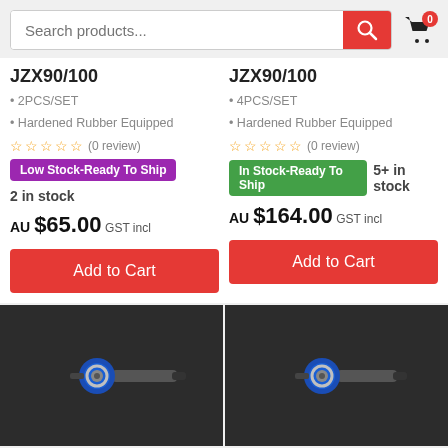Search products...
JZX90/100 · 2PCS/SET · Hardened Rubber Equipped (0 review) Low Stock-Ready To Ship 2 in stock AU $65.00 GST incl
JZX90/100 · 4PCS/SET · Hardened Rubber Equipped (0 review) In Stock-Ready To Ship 5+ in stock AU $164.00 GST incl
[Figure (photo): Product image of a blue and silver tie rod end / ball joint component on dark background]
[Figure (photo): Product image of a blue and silver tie rod end / ball joint component on dark background]